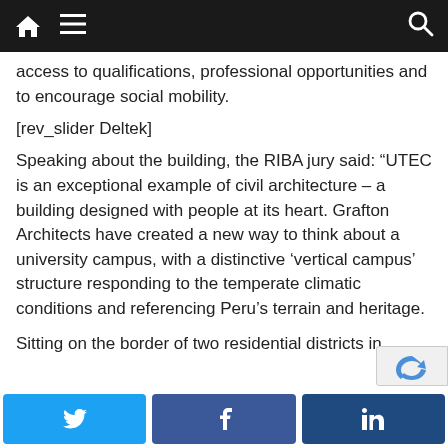[navigation bar with home, menu, and search icons]
access to qualifications, professional opportunities and to encourage social mobility.
[rev_slider Deltek]
Speaking about the building, the RIBA jury said: “UTEC is an exceptional example of civil architecture – a building designed with people at its heart. Grafton Architects have created a new way to think about a university campus, with a distinctive ‘vertical campus’ structure responding to the temperate climatic conditions and referencing Peru’s terrain and heritage.
Sitting on the border of two residential districts in
[Twitter share] [Facebook share] [LinkedIn share]